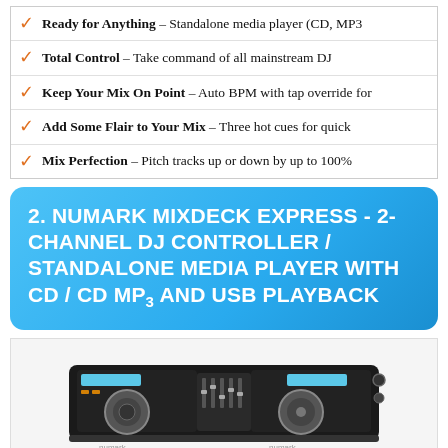Ready for Anything – Standalone media player (CD, MP3
Total Control – Take command of all mainstream DJ
Keep Your Mix On Point – Auto BPM with tap override for
Add Some Flair to Your Mix – Three hot cues for quick
Mix Perfection – Pitch tracks up or down by up to 100%
2. NUMARK MIXDECK EXPRESS - 2-CHANNEL DJ CONTROLLER / STANDALONE MEDIA PLAYER WITH CD / CD MP3 AND USB PLAYBACK
[Figure (photo): Photo of a Numark Mixdeck Express 2-channel DJ controller with dual CD/MP3 decks, jog wheels, mixer section, and USB input, shown from a slightly elevated front angle on a light background.]